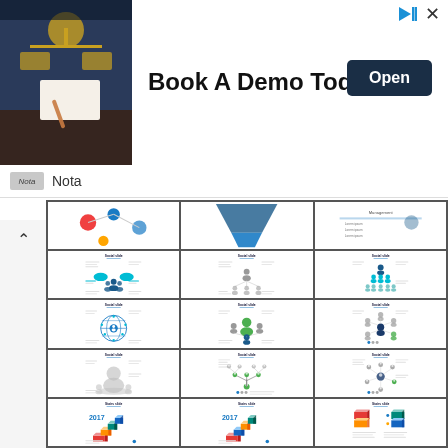[Figure (screenshot): Advertisement banner: photo of justice scales and person writing, text 'Book A Demo Today', blue 'Open' button, Nota branding below]
[Figure (screenshot): Grid of presentation slide thumbnails showing 'Social slide' and 'Stairs slide' infographic templates with human figures, network diagrams, and staircase graphics in various color schemes]